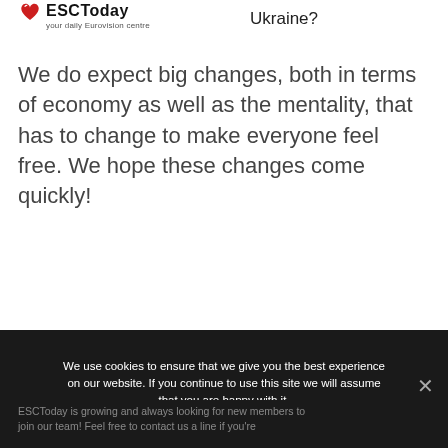Ukraine? ESCToday your daily Eurovision centre [logo]
We do expect big changes, both in terms of economy as well as the mentality, that has to change to make everyone feel free. We hope these changes come quickly!
We use cookies to ensure that we give you the best experience on our website. If you continue to use this site we will assume that you are happy with it.
Ok
ESCToday is growing and always looking for new members to join our team! Feel free to contact us a line if you're